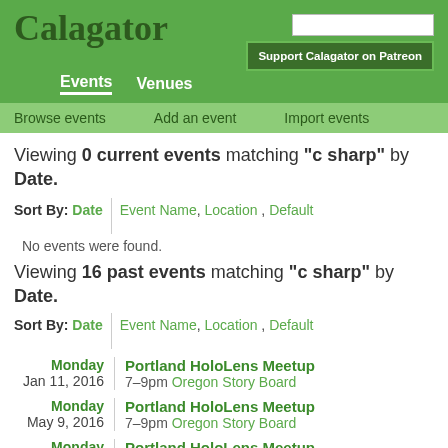Calagator
Events  Venues  Support Calagator on Patreon
Browse events  Add an event  Import events
Viewing 0 current events matching "c sharp" by Date.
Sort By: Date  Event Name, Location, Default
No events were found.
Viewing 16 past events matching "c sharp" by Date.
Sort By: Date  Event Name, Location, Default
Monday Jan 11, 2016  Portland HoloLens Meetup  7–9pm Oregon Story Board
Monday May 9, 2016  Portland HoloLens Meetup  7–9pm Oregon Story Board
Monday  Portland HoloLens Meetup